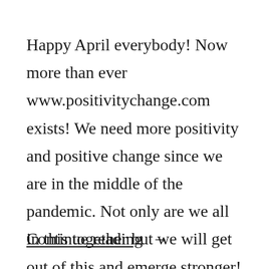Happy April everybody! Now more than ever www.positivitychange.com exists! We need more positivity and positive change since we are in the middle of the pandemic. Not only are we all in this together but we will get out of this and emerge stronger! You can also subscribe to my mailing list to receive more positive …
Continue reading →